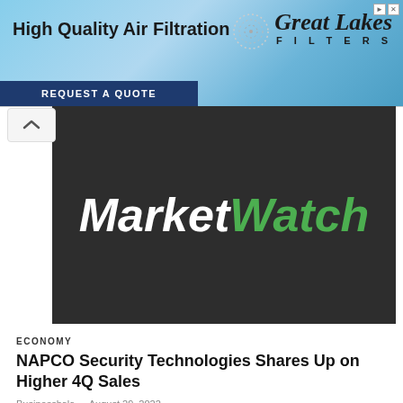[Figure (screenshot): Advertisement banner for Great Lakes Filters — High Quality Air Filtration, Request a Quote, blue sky background]
[Figure (logo): MarketWatch logo on dark gray background — 'Market' in white italic bold, 'Watch' in green italic bold]
ECONOMY
NAPCO Security Technologies Shares Up on Higher 4Q Sales
Businesshala - August 29, 2022